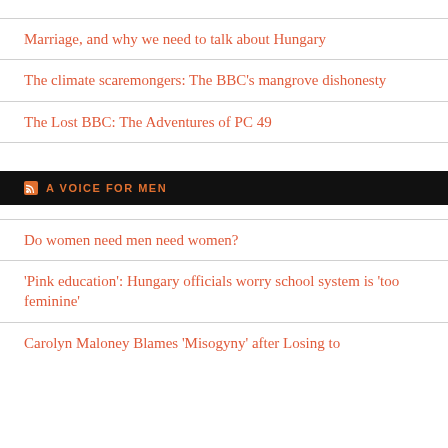Marriage, and why we need to talk about Hungary
The climate scaremongers: The BBC's mangrove dishonesty
The Lost BBC: The Adventures of PC 49
A VOICE FOR MEN
Do women need men need women?
'Pink education': Hungary officials worry school system is 'too feminine'
Carolyn Maloney Blames 'Misogyny' after Losing to